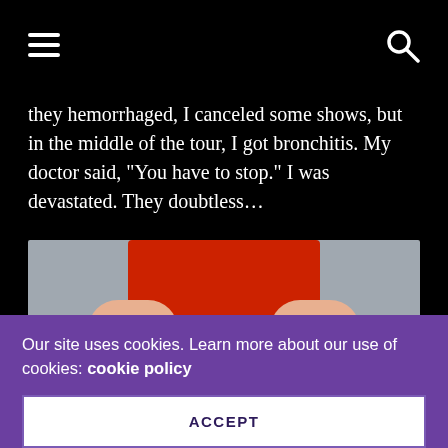≡  [search icon]
they hemorrhaged, I canceled some shows, but in the middle of the tour, I got bronchitis. My doctor said, "You have to stop." I was devastated. They doubtless…
[Figure (photo): A person wearing red clothing holds a large handful of gold Chinese coins in both hands outstretched toward the camera.]
Our site uses cookies. Learn more about our use of cookies: cookie policy
ACCEPT